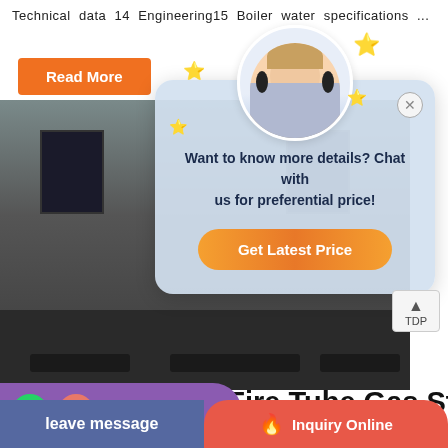Technical data 14 Engineering15 Boiler water specifications ...
Read More
[Figure (screenshot): Chat popup overlay on top of industrial boiler control room photo. Popup shows avatar of woman with headset, star decorations, text 'Want to know more details? Chat with us for preferential price!' and orange 'Get Latest Price' button. A close (X) button is in the top right of popup.]
China Industrial Fire Tube Gas Steam...
am furnace prices Yuanda WNS series
Save Stickers on WhatsApp
leave message
Inquiry Online